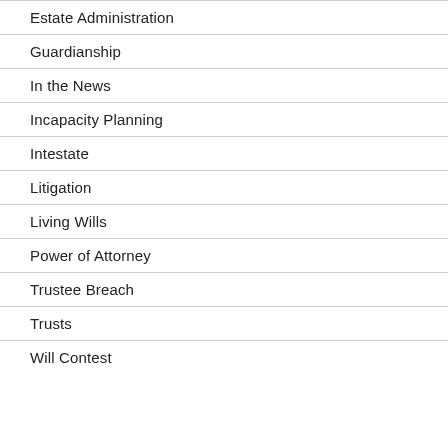Estate Administration
Guardianship
In the News
Incapacity Planning
Intestate
Litigation
Living Wills
Power of Attorney
Trustee Breach
Trusts
Will Contest